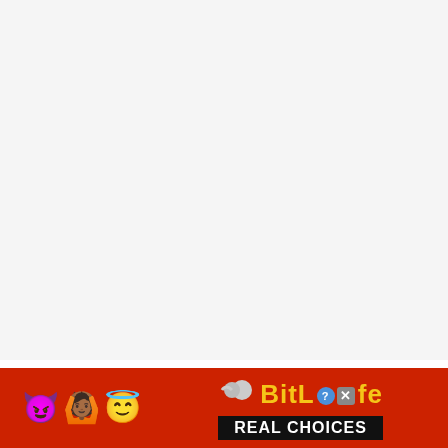Those characteristics certainly make them beautiful and bright, and they would make great companions for anyon
[Figure (screenshot): Advertisement banner for BitLife game with red background, emojis (devil, person with raised hands, angel face), a sperm emoji, BitLife logo in yellow text with question mark and X badges, and 'REAL CHOICES' text on black background]